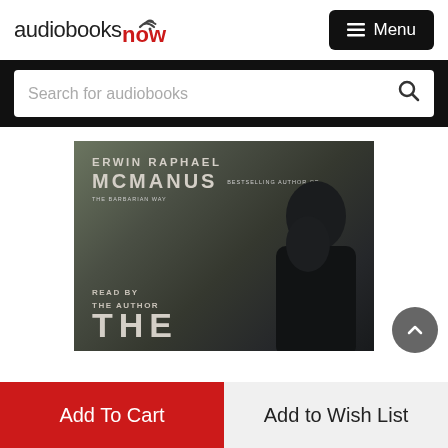[Figure (logo): audiobooksnow logo with wifi icon and red 'now' text]
≡ Menu
Search for audiobooks
[Figure (photo): Audiobook cover for Erwin Raphael McManus - showing author name, 'Read by the Author', and the word 'THE', with a man in dark clothing looking downward]
Add To Cart
Add to Wish List